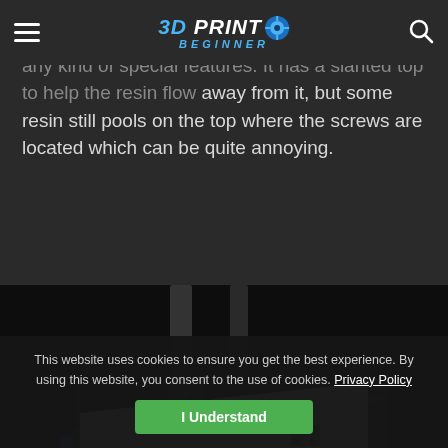3D PRINT BEGINNER
build plate is quite standard and doesn't have any kind of special features. It has a slanted top to help the resin flow away from it, but some resin still pools on the top where the screws are located which can be quite annoying.
[Figure (photo): Close-up photo of a resin 3D printer build plate showing aluminum plate with black knobs/screws and metal brackets, mounted on printer arm, dark background.]
This website uses cookies to ensure you get the best experience. By using this website, you consent to the use of cookies. Privacy Policy
I Understand